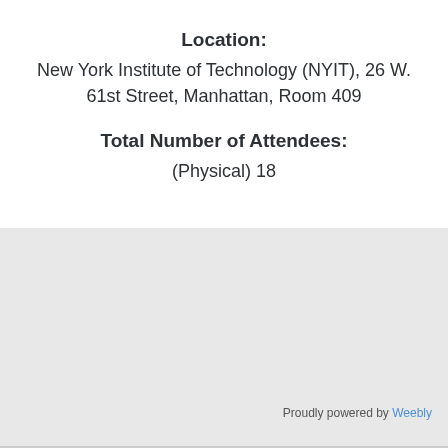Location:
New York Institute of Technology (NYIT), 26 W. 61st Street, Manhattan, Room 409
Total Number of Attendees:
(Physical) 18
Proudly powered by Weebly